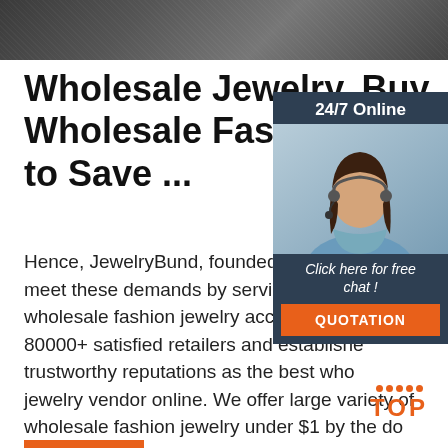[Figure (photo): Dark denim fabric texture header image]
Wholesale Jewelry, Buy Wholesale Fashion Jewelry to Save ...
[Figure (infographic): Chat widget overlay with 24/7 Online label, female customer service agent photo, 'Click here for free chat!' text, and orange QUOTATION button]
Hence, JewelryBund, founded in 2008, meet these demands by serving high quality wholesale fashion jewelry accessories and 80000+ satisfied retailers and established trustworthy reputations as the best wholesale jewelry vendor online. We offer large variety of wholesale fashion jewelry under $1 by the dozen or from one piece ...
[Figure (other): Orange TOP button with decorative dots]